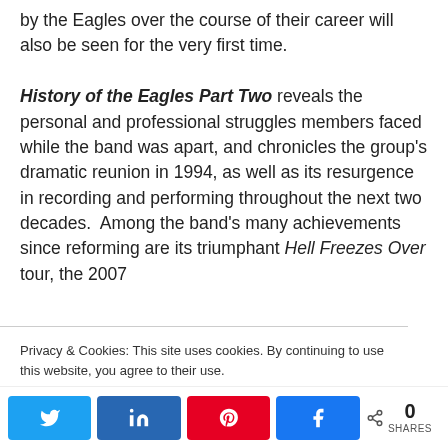by the Eagles over the course of their career will also be seen for the very first time.
History of the Eagles Part Two reveals the personal and professional struggles members faced while the band was apart, and chronicles the group's dramatic reunion in 1994, as well as its resurgence in recording and performing throughout the next two decades.  Among the band's many achievements since reforming are its triumphant Hell Freezes Over tour, the 2007
Privacy & Cookies: This site uses cookies. By continuing to use this website, you agree to their use.
To find out more, including how to control cookies, see here: Cookie Policy
[Figure (other): Social sharing bar with Twitter, LinkedIn, Pinterest, Facebook buttons and share count showing 0 SHARES]